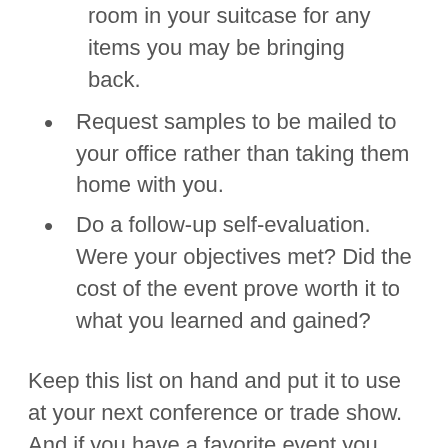room in your suitcase for any items you may be bringing back.
Request samples to be mailed to your office rather than taking them home with you.
Do a follow-up self-evaluation. Were your objectives met? Did the cost of the event prove worth it to what you learned and gained?
Keep this list on hand and put it to use at your next conference or trade show. And if you have a favorite event you attend often, let us know about it! We are always looking for new events to attend and